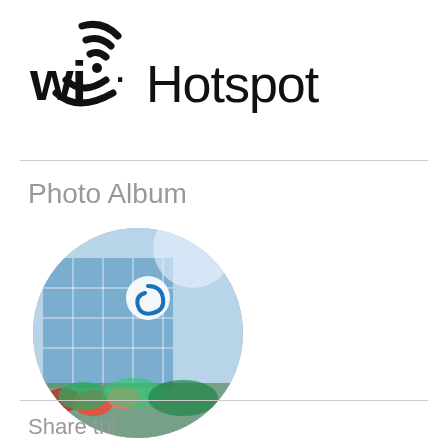[Figure (logo): Wi-Fi Hotspot logo with wi-fi signal icon and text 'wi-fi Hotspot']
Photo Album
[Figure (photo): Circular photo of Esquimalt Recreation Facilities building with a blue spiral logo visible on the exterior and flowers in the foreground]
ESQUIMALT RECREATION FACILITIES
Share this